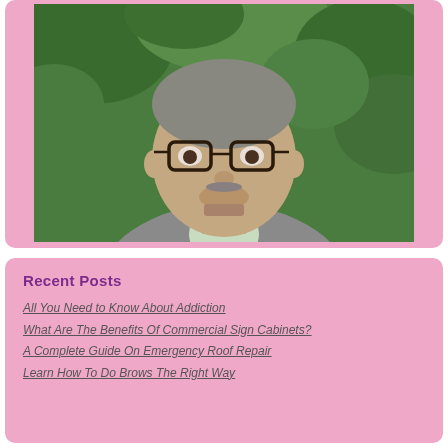[Figure (photo): Portrait photo of a middle-aged man wearing glasses and a grey blazer over a light green shirt, with green foliage in the background]
Recent Posts
All You Need to Know About Addiction
What Are The Benefits Of Commercial Sign Cabinets?
A Complete Guide On Emergency Roof Repair
Learn How To Do Brows The Right Way